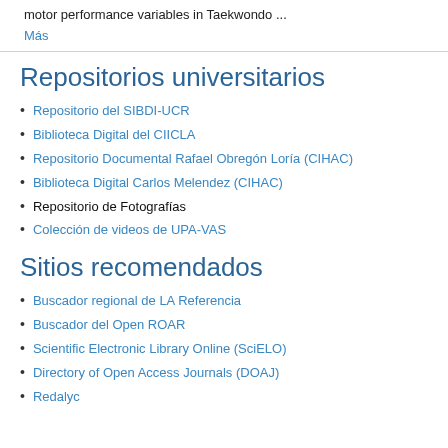motor performance variables in Taekwondo ...
Más
Repositorios universitarios
Repositorio del SIBDI-UCR
Biblioteca Digital del CIICLA
Repositorio Documental Rafael Obregón Loría (CIHAC)
Biblioteca Digital Carlos Melendez (CIHAC)
Repositorio de Fotografías
Colección de videos de UPA-VAS
Sitios recomendados
Buscador regional de LA Referencia
Buscador del Open ROAR
Scientific Electronic Library Online (SciELO)
Directory of Open Access Journals (DOAJ)
Redalyc